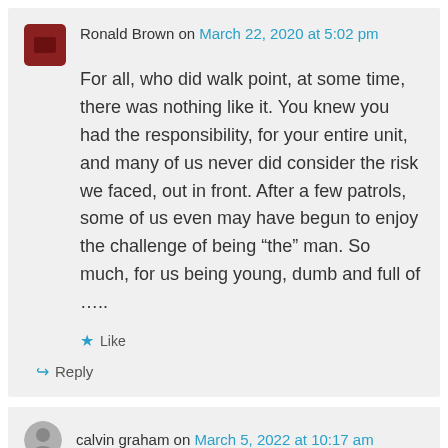Ronald Brown on March 22, 2020 at 5:02 pm
For all, who did walk point, at some time, there was nothing like it. You knew you had the responsibility, for your entire unit, and many of us never did consider the risk we faced, out in front. After a few patrols, some of us even may have begun to enjoy the challenge of being “the” man. So much, for us being young, dumb and full of …..
★ Like
↳ Reply
calvin graham on March 5, 2022 at 10:17 am